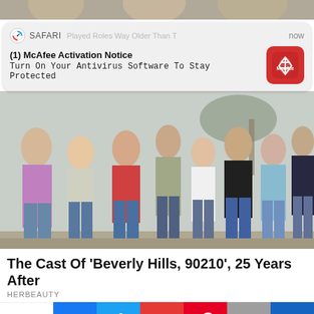[Figure (screenshot): Top partial strip of background image (cropped top of page)]
[Figure (screenshot): Safari browser notification overlay: '(1) McAfee Activation Notice - Turn On Your Antivirus Software To Stay Protected' with McAfee red icon, labeled 'now']
[Figure (photo): Group photo of the cast of Beverly Hills, 90210 — eight young people standing together outdoors in casual 1990s attire, jeans and colorful tops]
The Cast Of 'Beverly Hills, 90210', 25 Years After
HERBEAUTY
[Figure (infographic): Social share bar with buttons: Shares, Facebook (f), Twitter (bird), Google+ (G+), Pinterest (P), Email (envelope), and a crown icon button]